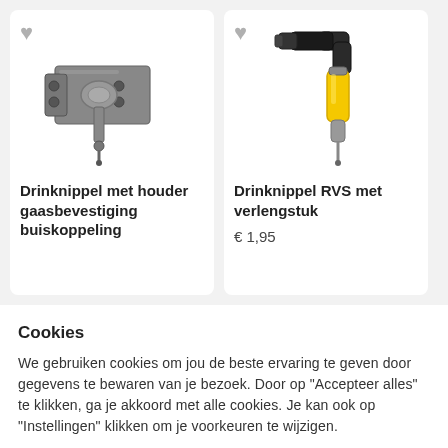[Figure (photo): Product image: Drinknippel met houder gaasbevestiging buiskoppeling - a metal bracket with a drinking nipple/valve for poultry fencing]
Drinknippel met houder gaasbevestiging buiskoppeling
[Figure (photo): Product image: Drinknippel RVS met verlengstuk - a stainless steel drinking nipple with extension, yellow body and black top fitting]
Drinknippel RVS met verlengstuk
€ 1,95
Cookies
We gebruiken cookies om jou de beste ervaring te geven door gegevens te bewaren van je bezoek. Door op "Accepteer alles" te klikken, ga je akkoord met alle cookies. Je kan ook op "Instellingen" klikken om je voorkeuren te wijzigen.
Instellingen
Accepteer alles